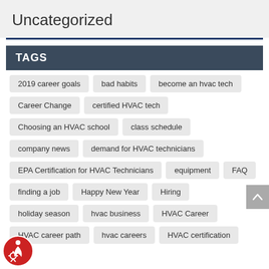Uncategorized
TAGS
2019 career goals
bad habits
become an hvac tech
Career Change
certified HVAC tech
Choosing an HVAC school
class schedule
company news
demand for HVAC technicians
EPA Certification for HVAC Technicians
equipment
FAQ
finding a job
Happy New Year
Hiring
holiday season
hvac business
HVAC Career
HVAC career path
hvac careers
HVAC certification